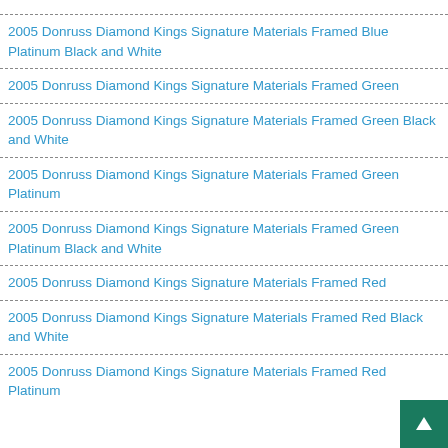2005 Donruss Diamond Kings Signature Materials Framed Blue Platinum Black and White
2005 Donruss Diamond Kings Signature Materials Framed Green
2005 Donruss Diamond Kings Signature Materials Framed Green Black and White
2005 Donruss Diamond Kings Signature Materials Framed Green Platinum
2005 Donruss Diamond Kings Signature Materials Framed Green Platinum Black and White
2005 Donruss Diamond Kings Signature Materials Framed Red
2005 Donruss Diamond Kings Signature Materials Framed Red Black and White
2005 Donruss Diamond Kings Signature Materials Framed Red Platinum